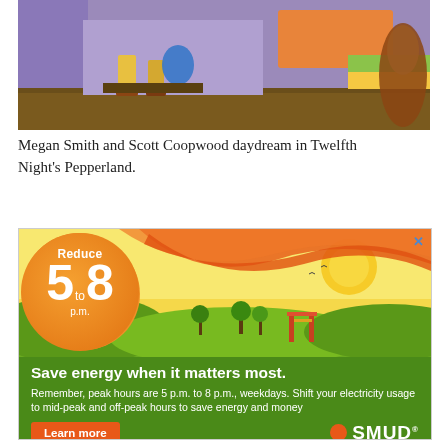[Figure (photo): Stage photo showing feet and legs of performers with colorful set pieces including a purple wall, orange box, green and yellow striped elements, and a cello on the right side. Brown wooden stage floor visible at the bottom.]
Megan Smith and Scott Coopwood daydream in Twelfth Night's Pepperland.
[Figure (illustration): SMUD advertisement. Top half shows animated outdoor scene with orange wavy swoosh across yellow sky, green hills, trees, and a playground. A large orange circle on the left displays 'Reduce 5 to 8 p.m.' in white text. Bottom green section reads 'Save energy when it matters most.' with body text 'Remember, peak hours are 5 p.m. to 8 p.m., weekdays. Shift your electricity usage to mid-peak and off-peak hours to save energy and money'. Orange 'Learn more' button and SMUD logo at bottom.]